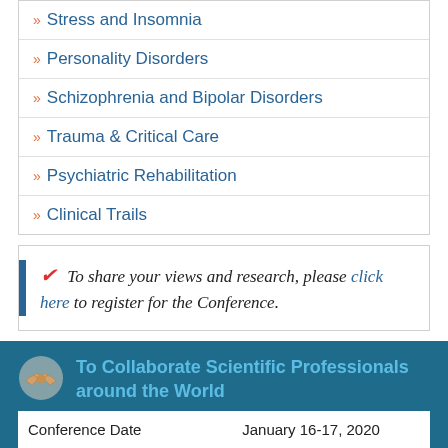» Stress and Insomnia
» Personality Disorders
» Schizophrenia and Bipolar Disorders
» Trauma & Critical Care
» Psychiatric Rehabilitation
» Clinical Trails
✔ To share your views and research, please click here to register for the Conference.
To Collaborate Scientific Professionals around the World
|  |  |
| --- | --- |
| Conference Date | January 16-17, 2020 |
| Sponsors & Exhibitors | → Click here for Sponsorship O |
| Speaker Opportunity Closed | Day 1 |
| Poster Opportunity Closed |  |